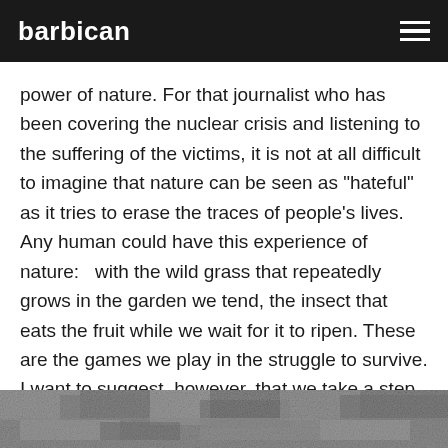barbican
power of nature. For that journalist who has been covering the nuclear crisis and listening to the suffering of the victims, it is not at all difficult to imagine that nature can be seen as "hateful" as it tries to erase the traces of people's lives. Any human could have this experience of nature:   with the wild grass that repeatedly grows in the garden we tend, the insect that eats the fruit while we wait for it to ripen. These are the games we play in the struggle to survive. I want to suggest, however, that we take a step back to consider this human perspective and the nature of the mind.
[Figure (photo): Black and white grainy photograph showing a textured natural surface, likely ground or vegetation.]